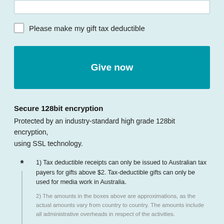[input field]
Please make my gift tax deductible
Give now
Secure 128bit encryption
Protected by an industry-standard high grade 128bit encryption, using SSL technology.
1) Tax deductible receipts can only be issued to Australian tax payers for gifts above $2. Tax-deductible gifts can only be used for media work in Australia.
2) The amounts in the boxes above are approximations, as the actual amounts vary from country to country. The amounts include all administrative overheads in respect of the activities.
3) Selecting a box above does not mean that your gift will be used